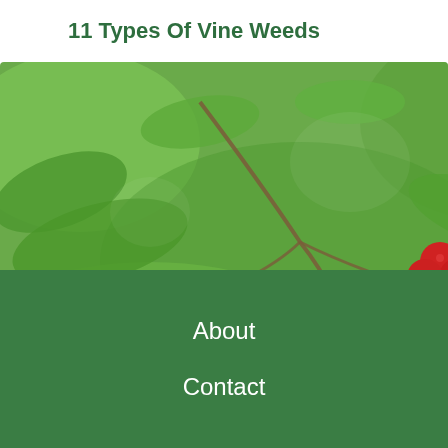11 Types Of Vine Weeds
[Figure (photo): Close-up photograph of clusters of bright red berries hanging from green vines with leaves in the background]
13 Weeds With Red Berries
About
Contact